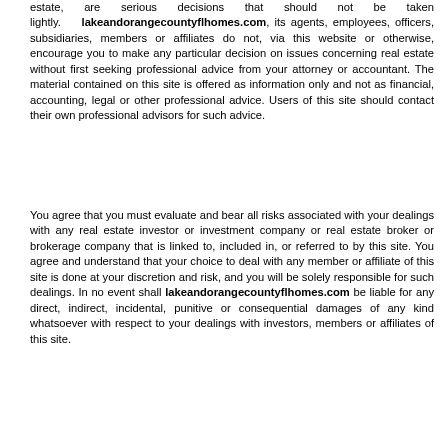estate, are serious decisions that should not be taken lightly. lakeandorangecountyflhomes.com, its agents, employees, officers, subsidiaries, members or affiliates do not, via this website or otherwise, encourage you to make any particular decision on issues concerning real estate without first seeking professional advice from your attorney or accountant. The material contained on this site is offered as information only and not as financial, accounting, legal or other professional advice. Users of this site should contact their own professional advisors for such advice.
You agree that you must evaluate and bear all risks associated with your dealings with any real estate investor or investment company or real estate broker or brokerage company that is linked to, included in, or referred to by this site. You agree and understand that your choice to deal with any member or affiliate of this site is done at your discretion and risk, and you will be solely responsible for such dealings. In no event shall lakeandorangecountyflhomes.com be liable for any direct, indirect, incidental, punitive or consequential damages of any kind whatsoever with respect to your dealings with investors, members or affiliates of this site.